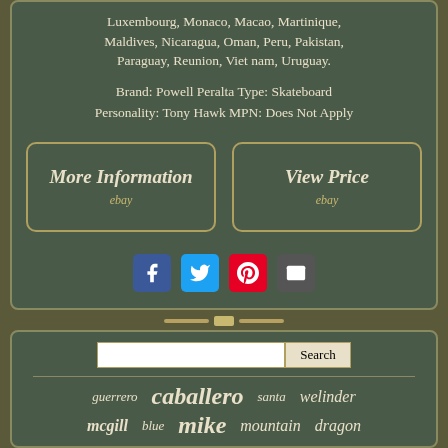Luxembourg, Monaco, Macao, Martinique, Maldives, Nicaragua, Oman, Peru, Pakistan, Paraguay, Reunion, Viet nam, Uruguay.
Brand: Powell Peralta Type: Skateboard Personality: Tony Hawk MPN: Does Not Apply
[Figure (other): Two eBay buttons: 'More Information ebay' and 'View Price ebay']
[Figure (other): Social media share icons: Facebook, Twitter, Pinterest, Email]
[Figure (other): Decorative divider image between sections]
Search input field with Search button
guerrero caballero santa welinder mcgill blue mike mountain dragon rare pink signed lance flight skull